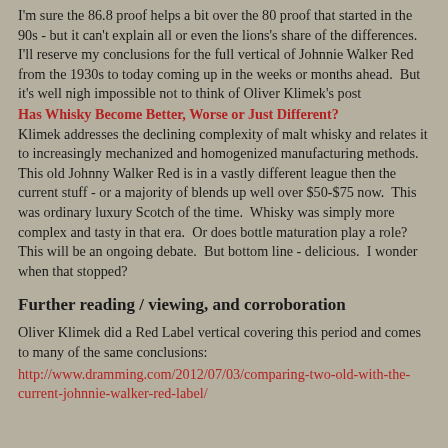I'm sure the 86.8 proof helps a bit over the 80 proof that started in the 90s - but it can't explain all or even the lions's share of the differences.  I'll reserve my conclusions for the full vertical of Johnnie Walker Red from the 1930s to today coming up in the weeks or months ahead.  But it's well nigh impossible not to think of Oliver Klimek's post
Has Whisky Become Better, Worse or Just Different?
Klimek addresses the declining complexity of malt whisky and relates it to increasingly mechanized and homogenized manufacturing methods.  This old Johnny Walker Red is in a vastly different league then the current stuff - or a majority of blends up well over $50-$75 now.  This was ordinary luxury Scotch of the time.  Whisky was simply more complex and tasty in that era.  Or does bottle maturation play a role?  This will be an ongoing debate.  But bottom line - delicious.  I wonder when that stopped?
Further reading / viewing, and corroboration
Oliver Klimek did a Red Label vertical covering this period and comes to many of the same conclusions:
http://www.dramming.com/2012/07/03/comparing-two-old-with-the-current-johnnie-walker-red-label/